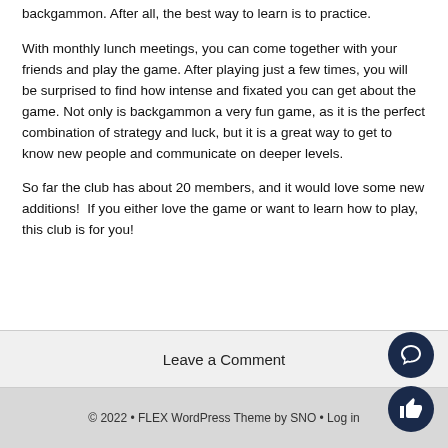backgammon. After all, the best way to learn is to practice.
With monthly lunch meetings, you can come together with your friends and play the game. After playing just a few times, you will be surprised to find how intense and fixated you can get about the game. Not only is backgammon a very fun game, as it is the perfect combination of strategy and luck, but it is a great way to get to know new people and communicate on deeper levels.
So far the club has about 20 members, and it would love some new additions!  If you either love the game or want to learn how to play, this club is for you!
Leave a Comment
© 2022 • FLEX WordPress Theme by SNO • Log in